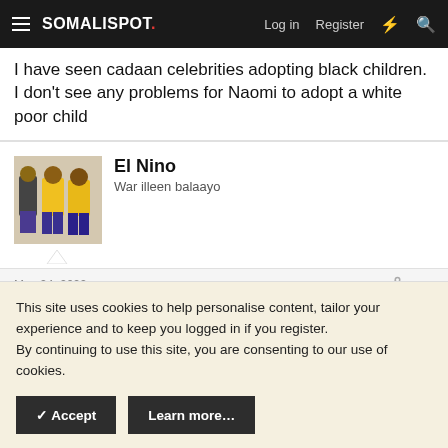SOMALISPOT. Log in Register
I have seen cadaan celebrities adopting black children. I don't see any problems for Naomi to adopt a white poor child
El Nino
War illeen balaayo
May 24, 2022  #12
Why do you care?
Boujie
This site uses cookies to help personalise content, tailor your experience and to keep you logged in if you register.
By continuing to use this site, you are consenting to our use of cookies.
✓ Accept   Learn more…